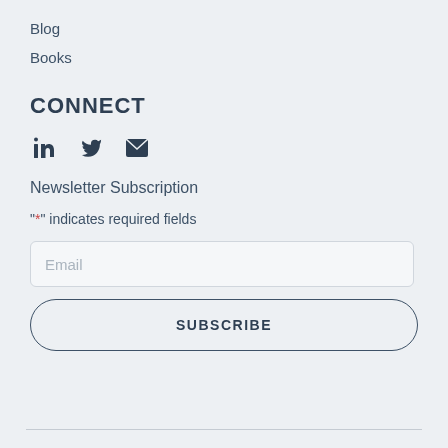Blog
Books
CONNECT
[Figure (infographic): Three social media icons: LinkedIn, Twitter/X, and email envelope]
Newsletter Subscription
"*" indicates required fields
Email (input field placeholder)
SUBSCRIBE (button)